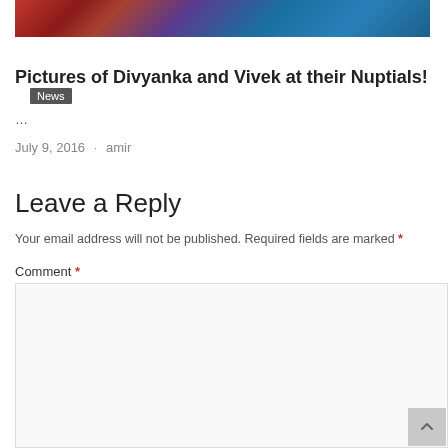[Figure (photo): Partial photo of a woman with colorful background (red, blue)]
News
Pictures of Divyanka and Vivek at their Nuptials!
…
July 9, 2016 · amir
Leave a Reply
Your email address will not be published. Required fields are marked *
Comment *